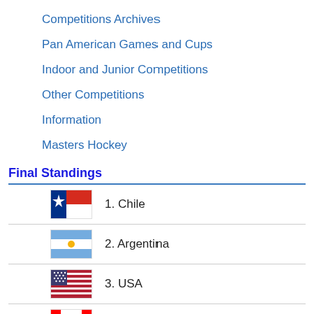Competitions Archives
Pan American Games and Cups
Indoor and Junior Competitions
Other Competitions
Information
Masters Hockey
Final Standings
| Rank | Country |
| --- | --- |
| 1. | Chile |
| 2. | Argentina |
| 3. | USA |
| 4. | Canada |
| 5. | Mexico |
| 6. | Trinidad & Tobago |